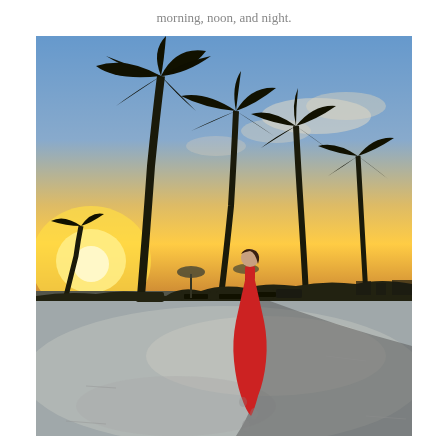morning, noon, and night.
[Figure (photo): A woman in a long red dress standing on a white sandy beach at sunset, surrounded by tall palm trees silhouetted against a golden and blue sky. Beach chairs and umbrellas are visible in the background.]